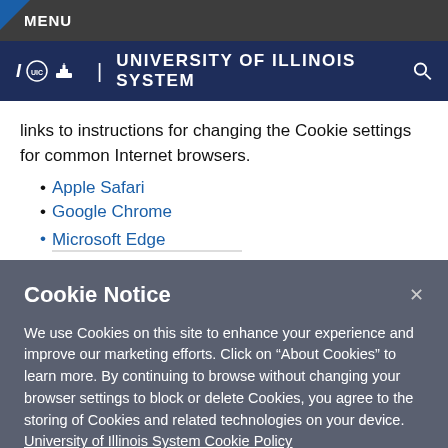MENU
UNIVERSITY OF ILLINOIS SYSTEM
links to instructions for changing the Cookie settings for common Internet browsers.
Apple Safari
Google Chrome
Microsoft Edge
Cookie Notice
We use Cookies on this site to enhance your experience and improve our marketing efforts. Click on “About Cookies” to learn more. By continuing to browse without changing your browser settings to block or delete Cookies, you agree to the storing of Cookies and related technologies on your device.  University of Illinois System Cookie Policy